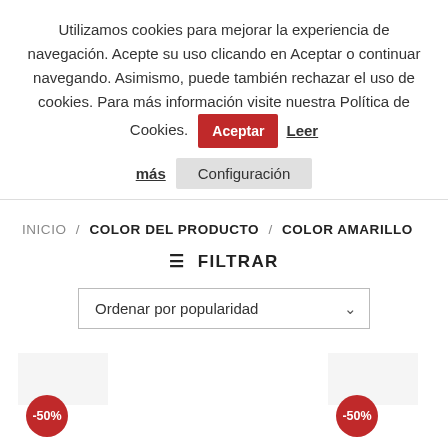Utilizamos cookies para mejorar la experiencia de navegación. Acepte su uso clicando en Aceptar o continuar navegando. Asimismo, puede también rechazar el uso de cookies. Para más información visite nuestra Política de Cookies.
Aceptar
Leer más
Configuración
INICIO / COLOR DEL PRODUCTO / COLOR AMARILLO
≡ FILTRAR
Ordenar por popularidad
-50%
-50%